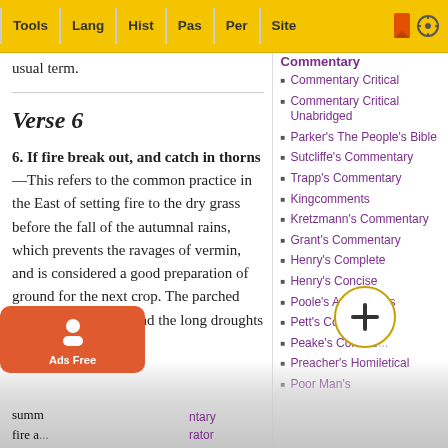Tools | Lang | Hist | Pas | Per | Site
usual term.
Verse 6
6. If fire break out, and catch in thorns—This refers to the common practice in the East of setting fire to the dry grass before the fall of the autumnal rains, which prevents the ravages of vermin, and is considered a good preparation of ground for the next crop. The parched state of the herbage and the long droughts of summer fire a...
Commentary
Commentary Critical
Commentary Critical Unabridged
Parker's The People's Bible
Sutcliffe's Commentary
Trapp's Commentary
Kingcomments
Kretzmann's Commentary
Grant's Commentary
Henry's Complete
Henry's Concise
Poole's Annotations
Pett's Comment...
Peake's Comme...
Preacher's Homiletical
Poor Man's
ntary
rator